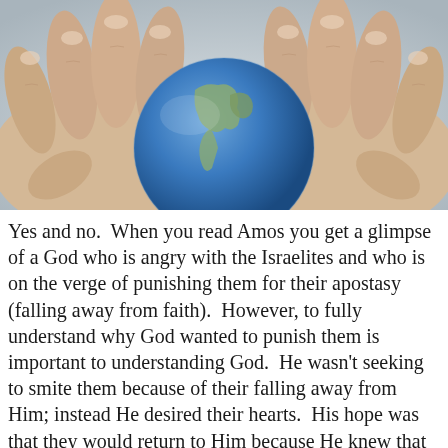[Figure (illustration): Two hands holding a globe (Earth), painted or illustrated style. Hands are pale/skin-toned holding a blue Earth globe with visible landmasses. Background is light grey.]
Yes and no.  When you read Amos you get a glimpse of a God who is angry with the Israelites and who is on the verge of punishing them for their apostasy (falling away from faith).  However, to fully understand why God wanted to punish them is important to understanding God.  He wasn't seeking to smite them because of their falling away from Him; instead He desired their hearts.  His hope was that they would return to Him because He knew that their lives would be better if they were surrendered.  God found no pleasure in their sacrifices